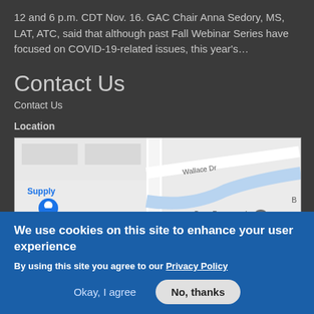12 and 6 p.m. CDT Nov. 16. GAC Chair Anna Sedory, MS, LAT, ATC, said that although past Fall Webinar Series have focused on COVID-19-related issues, this year's…
Contact Us
Contact Us
Location
[Figure (map): Google Maps screenshot showing Wallace Dr, Luna Rd, Supply store with pin, Core Personnel Staffing Services, Global Harvest Church, Valwood Pkwy]
We use cookies on this site to enhance your user experience
By using this site you agree to our Privacy Policy
Okay, I agree   No, thanks